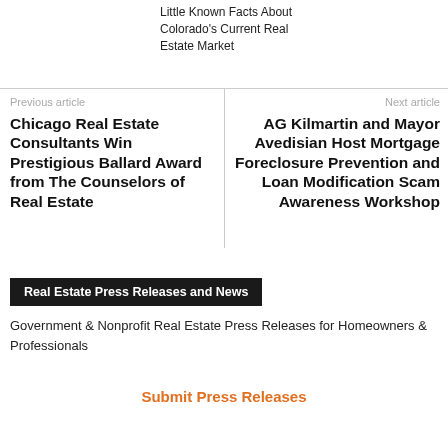Little Known Facts About Colorado's Current Real Estate Market
Previous article
Chicago Real Estate Consultants Win Prestigious Ballard Award from The Counselors of Real Estate
Next article
AG Kilmartin and Mayor Avedisian Host Mortgage Foreclosure Prevention and Loan Modification Scam Awareness Workshop
Real Estate Press Releases and News
Government & Nonprofit Real Estate Press Releases for Homeowners & Professionals
Submit Press Releases